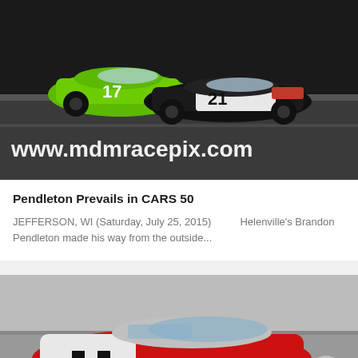[Figure (photo): Two race cars on a track at night — a green car numbered 17 and a black/white car numbered 21 — with watermark text 'www.mdmracepix.com' overlaid on the lower portion of the image.]
Pendleton Prevails in CARS 50
JEFFERSON, WI (Saturday, July 25, 2015)        Helenville's Brandon Pendleton made his way from the outside...
[Figure (photo): A red and white race car with a checkered flag design on the side, photographed on a racetrack. A circular scroll-up button is visible in the lower right corner.]